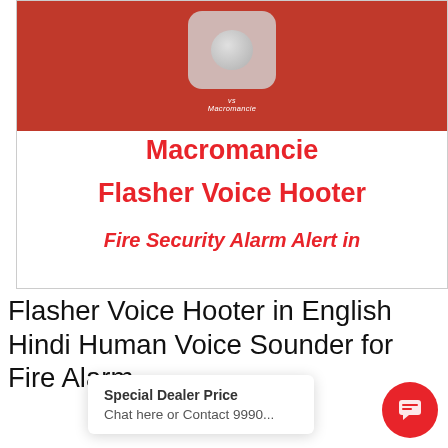[Figure (photo): Photo of a red Macromancie Flasher Voice Hooter fire security alarm device with a white/translucent button on top. Overlaid text reads 'Macromancie Flasher Voice Hooter' and 'Fire Security Alarm Alert in' in bold red font on a white background area below the device.]
Flasher Voice Hooter in English Hindi Human Voice Sounder for Fire Alarm
Special Dealer Price
Chat here or Contact 9990...